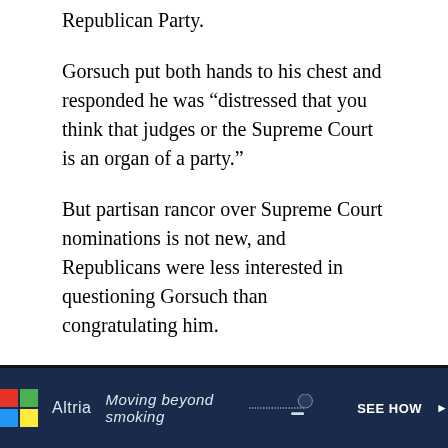Republican Party.
Gorsuch put both hands to his chest and responded he was “distressed that you think that judges or the Supreme Court is an organ of a party.”
But partisan rancor over Supreme Court nominations is not new, and Republicans were less interested in questioning Gorsuch than congratulating him.
Sen. Orrin G. Hatch (R-Utah), who has participated in 14 Supreme Court confirmation hearings, told Gorsuch, “I’ve seen an awful lot of great people in the law come before this committee. And I haven't seen anybody any better than you.”
[Figure (other): Altria advertisement banner: dark navy background with Altria colorful logo, text 'Moving beyond smoking' in italic font, and 'SEE HOW' call-to-action button with arrow. An image of a cigarette/vaping device is shown on the right side.]